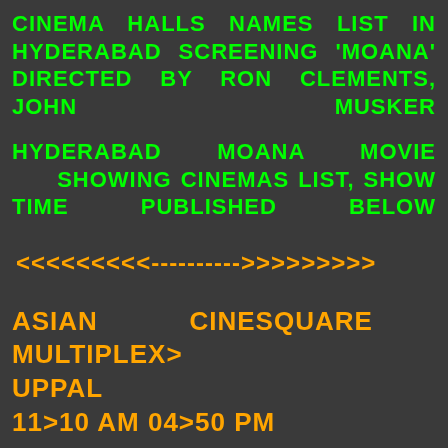CINEMA HALLS NAMES LIST IN HYDERABAD SCREENING 'MOANA' DIRECTED BY RON CLEMENTS, JOHN MUSKER
HYDERABAD MOANA MOVIE SHOWING CINEMAS LIST, SHOW TIME PUBLISHED BELOW
<<<<<<<<<---------->>>>>>>>>
ASIAN CINESQUARE MULTIPLEX> UPPAL
11>10 AM 04>50 PM